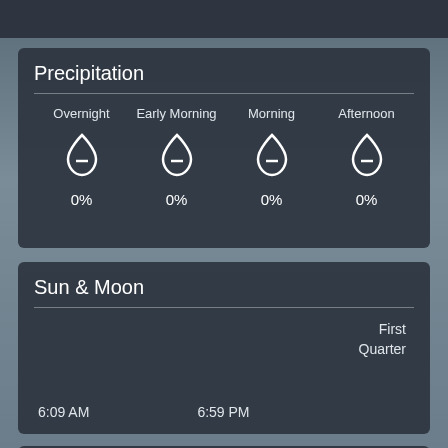Precipitation
| Overnight | Early Morning | Morning | Afternoon |
| --- | --- | --- | --- |
| 0% | 0% | 0% | 0% |
Sun & Moon
First Quarter
6:09 AM    6:59 PM
Wind & Pressure